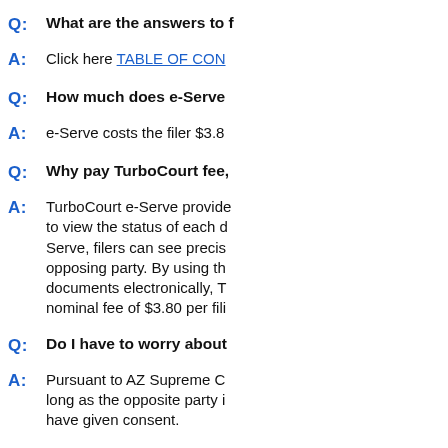Q: What are the answers to f
A: Click here TABLE OF CON
Q: How much does e-Serve
A: e-Serve costs the filer $3.8
Q: Why pay TurboCourt fee,
A: TurboCourt e-Serve provides to view the status of each d... Serve, filers can see precis... opposing party. By using th... documents electronically, T nominal fee of $3.80 per fili
Q: Do I have to worry about
A: Pursuant to AZ Supreme C long as the opposite party i have given consent.
Q: Is this service method for
A: Yes, as of March 2014, e-S